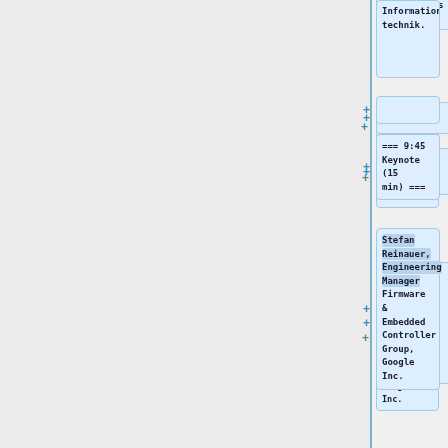Informationstechnik.
=== 9:45 Keynote (15 min) ===
Stefan Reinauer, Engineering Manager Firmware & Embedded Controller Group, Google Inc.
=== 10:05 coreboot introduction
+